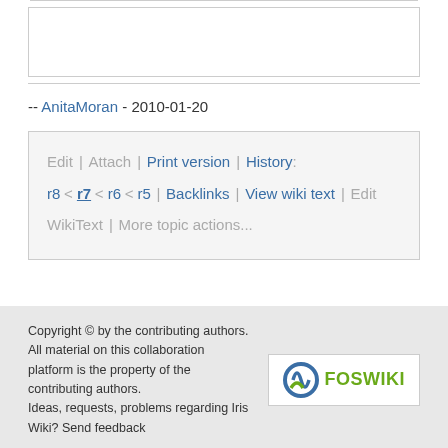-- AnitaMoran - 2010-01-20
Edit | Attach | Print version | History: r8 < r7 < r6 < r5 | Backlinks | View wiki text | Edit WikiText | More topic actions...
Copyright © by the contributing authors. All material on this collaboration platform is the property of the contributing authors. Ideas, requests, problems regarding Iris Wiki? Send feedback